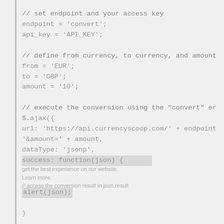// set endpoint and your access key
endpoint = 'convert';
api_key = 'API_KEY';

// define from currency, to currency, and amount
from = 'EUR';
to = 'GBP';
amount = '10';

// execute the conversion using the "convert" er
$.ajax({
url: 'https://api.currencyscoop.com/' + endpoint
'&amount=' + amount,
dataType: 'jsonp',
success: function(json) {

// access the conversion result in json.result
alert(json);

}